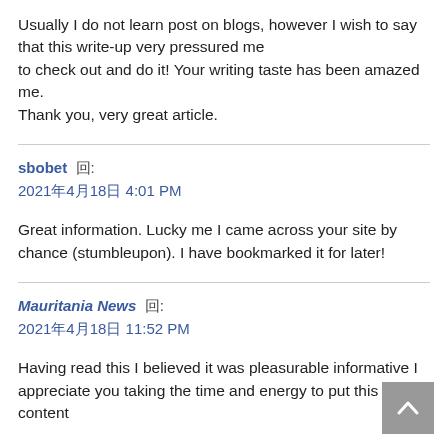Usually I do not learn post on blogs, however I wish to say that this write-up very pressured me to check out and do it! Your writing taste has been amazed me. Thank you, very great article.
sbobet  回:
2021年4月18日 4:01 PM
Great information. Lucky me I came across your site by chance (stumbleupon). I have bookmarked it for later!
Mauritania News  回:
2021年4月18日 11:52 PM
Having read this I believed it was pleasurable informative I appreciate you taking the time and energy to put this content